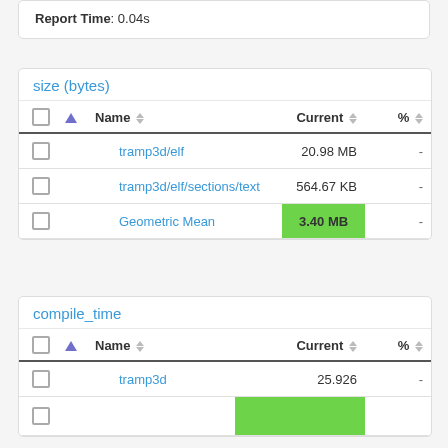Report Time: 0.04s
size (bytes)
|  |  | Name | Current | % |
| --- | --- | --- | --- | --- |
|  |  | tramp3d/elf | 20.98 MB | - |
|  |  | tramp3d/elf/sections/text | 564.67 KB | - |
|  |  | Geometric Mean | 3.40 MB | - |
compile_time
|  |  | Name | Current | % |
| --- | --- | --- | --- | --- |
|  |  | tramp3d | 25.926 | - |